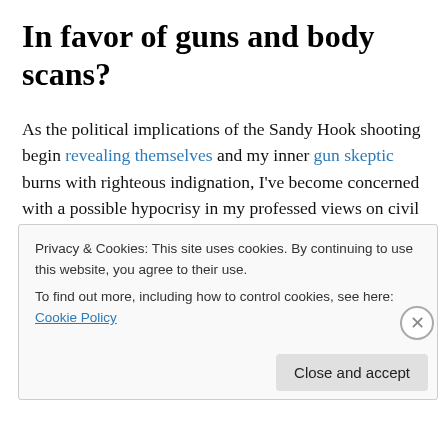In favor of guns and body scans?
As the political implications of the Sandy Hook shooting begin revealing themselves and my inner gun skeptic burns with righteous indignation, I’ve become concerned with a possible hypocrisy in my professed views on civil rights that I likely share with some readers.
The U.S. has more assault-related deaths per capita than every other OECD country, and we also tend to have laxer
Privacy & Cookies: This site uses cookies. By continuing to use this website, you agree to their use.
To find out more, including how to control cookies, see here: Cookie Policy
Close and accept